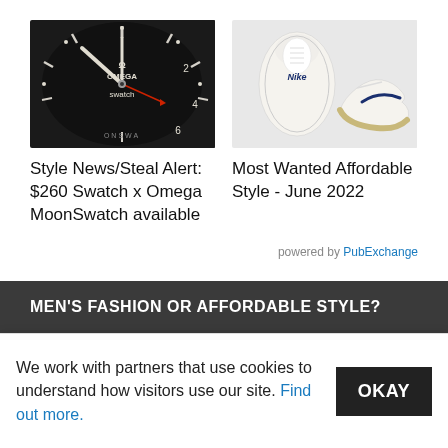[Figure (photo): Close-up of Omega x Swatch MoonSwatch watch face showing dial with white hands and red arrow hand]
[Figure (photo): Nike SB shoes - white sneakers shown from top and side angle]
Style News/Steal Alert: $260 Swatch x Omega MoonSwatch available
Most Wanted Affordable Style - June 2022
powered by PubExchange
MEN'S FASHION OR AFFORDABLE STYLE?
We work with partners that use cookies to understand how visitors use our site. Find out more.